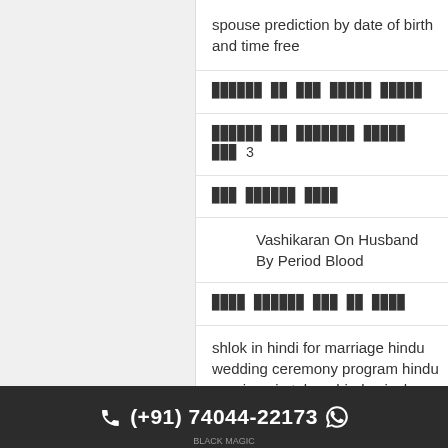spouse prediction by date of birth and time free
🔲🔲🔲🔲🔲🔲 🔲🔲 🔲🔲🔲 🔲🔲🔲🔲🔲 🔲🔲🔲🔲🔲
🔲🔲🔲🔲🔲🔲 🔲🔲 🔲🔲🔲🔲🔲🔲🔲 🔲🔲🔲🔲🔲 🔲🔲🔲 3
🔲🔲🔲 🔲🔲🔲🔲🔲🔲 🔲🔲🔲🔲
Vashikaran On Husband By Period Blood
🔲🔲🔲🔲 🔲🔲🔲🔲🔲🔲 🔲🔲🔲 🔲🔲 🔲🔲🔲🔲
shlok in hindi for marriage hindu wedding ceremony program hindu marriage in telugu hindu vivah mantra
(+91) 74044-22173